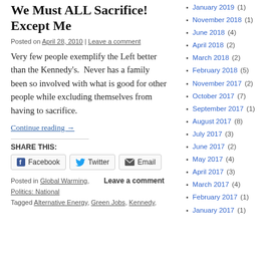We Must ALL Sacrifice! Except Me
Posted on April 28, 2010 | Leave a comment
Very few people exemplify the Left better than the Kennedy's.  Never has a family been so involved with what is good for other people while excluding themselves from having to sacrifice.
Continue reading →
SHARE THIS:
Facebook  Twitter  Email
Posted in Global Warming, Politics: National
Tagged Alternative Energy, Green Jobs, Kennedy,
Leave a comment
January 2019 (1)
November 2018 (1)
June 2018 (4)
April 2018 (2)
March 2018 (2)
February 2018 (5)
November 2017 (2)
October 2017 (7)
September 2017 (1)
August 2017 (8)
July 2017 (3)
June 2017 (2)
May 2017 (4)
April 2017 (3)
March 2017 (4)
February 2017 (1)
January 2017 (1)